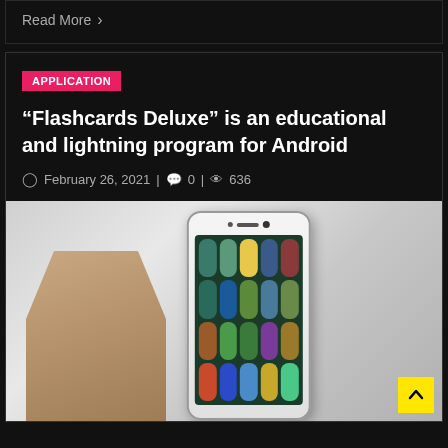Read More >
APPLICATION
“Flashcards Deluxe” is an educational and lightning program for Android
February 26, 2021 | 0 | 636
[Figure (photo): A hand holding an Android smartphone displaying a home screen with app icons, set against a blurred grey background. A yellow back-to-top button is visible in the bottom right.]